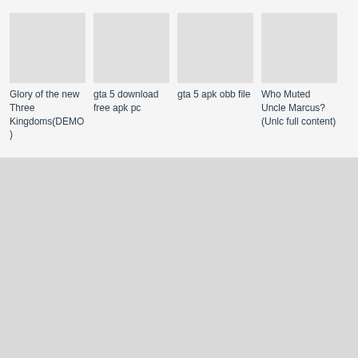[Figure (screenshot): App/game thumbnail placeholder image - gray rectangle]
Glory of the new Three Kingdoms(DEMO)
[Figure (screenshot): App/game thumbnail placeholder image - gray rectangle]
gta 5 download free apk pc
[Figure (screenshot): App/game thumbnail placeholder image - gray rectangle]
gta 5 apk obb file
[Figure (screenshot): App/game thumbnail placeholder image - gray rectangle]
Who Muted Uncle Marcus?(Unlc full content)